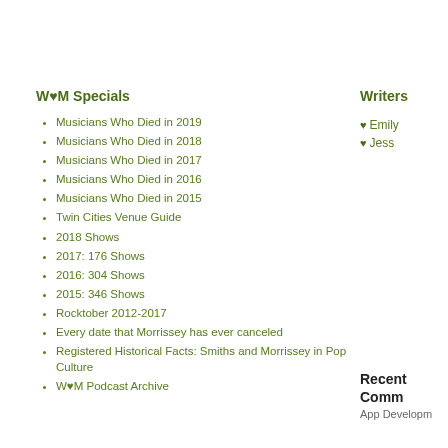W♥M Specials
Musicians Who Died in 2019
Musicians Who Died in 2018
Musicians Who Died in 2017
Musicians Who Died in 2016
Musicians Who Died in 2015
Twin Cities Venue Guide
2018 Shows
2017: 176 Shows
2016: 304 Shows
2015: 346 Shows
Rocktober 2012-2017
Every date that Morrissey has ever canceled
Registered Historical Facts: Smiths and Morrissey in Pop Culture
W♥M Podcast Archive
Writers
♥ Emily
♥ Jess
Recent Comm
App Developm